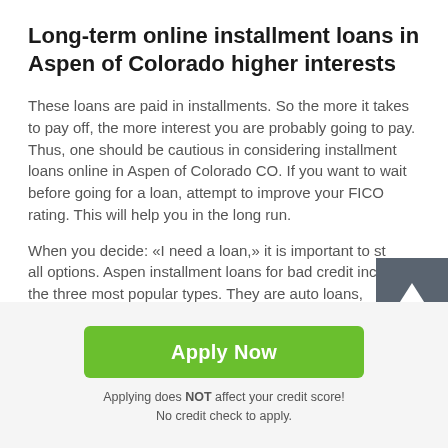Long-term online installment loans in Aspen of Colorado higher interests
These loans are paid in installments. So the more it takes to pay off, the more interest you are probably going to pay. Thus, one should be cautious in considering installment loans online in Aspen of Colorado CO. If you want to wait before going for a loan, attempt to improve your FICO rating. This will help you in the long run.
When you decide: «I need a loan,» it is important to study all options. Aspen installment loans for bad credit include the three most popular types. They are auto loans,
[Figure (other): Scroll-to-top button with upward arrow icon on dark grey background]
Apply Now
Applying does NOT affect your credit score!
No credit check to apply.